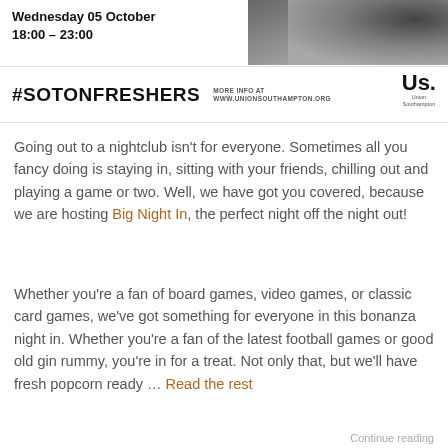[Figure (photo): Dark background image at top right of page, partially cropped, showing a dark object]
Wednesday 05 October
18:00 – 23:00
#SOTONFRESHERS  MORE INFO AT WWW.UNIONSOUTHAMPTON.ORG
[Figure (logo): Us. Union Southampton logo]
Going out to a nightclub isn't for everyone. Sometimes all you fancy doing is staying in, sitting with your friends, chilling out and playing a game or two. Well, we have got you covered, because we are hosting Big Night In, the perfect night off the night out!
Whether you're a fan of board games, video games, or classic card games, we've got something for everyone in this bonanza night in. Whether you're a fan of the latest football games or good old gin rummy, you're in for a treat. Not only that, but we'll have fresh popcorn ready … Read the rest
Continue reading